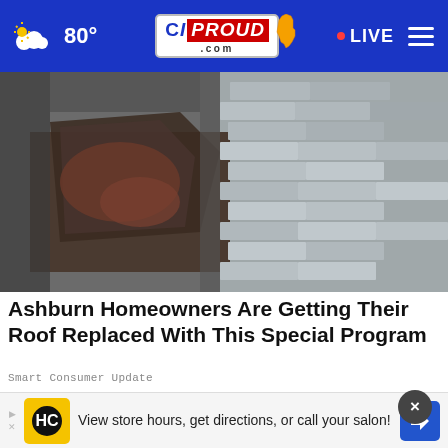80° CIPROUD.com • LIVE
[Figure (photo): Close-up photo of damaged roof shingles, showing torn and curled shingles with debris and wood underneath exposed]
Ashburn Homeowners Are Getting Their Roof Replaced With This Special Program
Smart Consumer Update
[Figure (photo): Person in orange/yellow sweater holding a white device, blurred background with greenery and light]
View store hours, get directions, or call your salon!